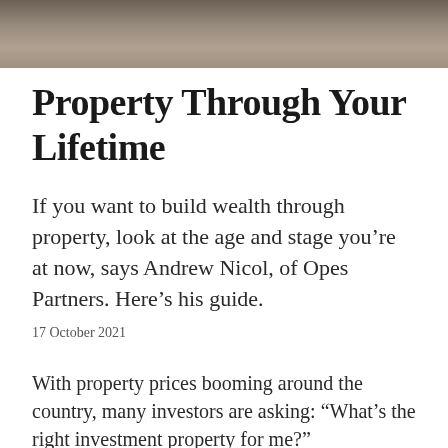[Figure (photo): Close-up photo of hands, blurred background, positioned at top of page]
Property Through Your Lifetime
If you want to build wealth through property, look at the age and stage you're at now, says Andrew Nicol, of Opes Partners. Here's his guide.
17 October 2021
With property prices booming around the country, many investors are asking: “What’s the right investment property for me?”